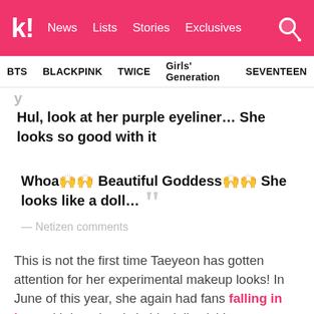k! News Lists Stories Exclusives
BTS  BLACKPINK  TWICE  Girls' Generation  SEVENTEEN
y
Hul, look at her purple eyeliner… She looks so good with it
Whoa🙌🙌 Beautiful Goddess🙌🙌 She looks like a doll…
— Netizen comments
This is not the first time Taeyeon has gotten attention for her experimental makeup looks! In June of this year, she again had fans falling in love with her visuals in black lipstick!